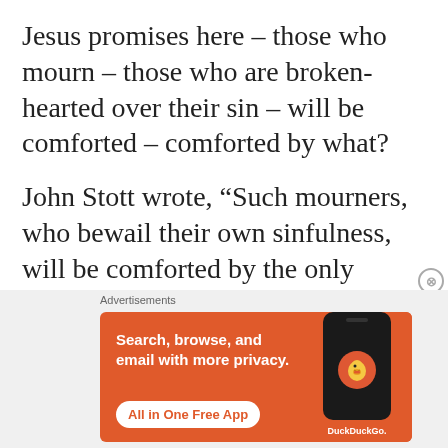Jesus promises here – those who mourn – those who are broken-hearted over their sin – will be comforted – comforted by what?
John Stott wrote, “Such mourners, who bewail their own sinfulness, will be comforted by the only comfort which can relieve their distress,
[Figure (screenshot): DuckDuckGo advertisement banner with orange background. Text reads: 'Search, browse, and email with more privacy. All in One Free App' with a phone mockup showing the DuckDuckGo logo.]